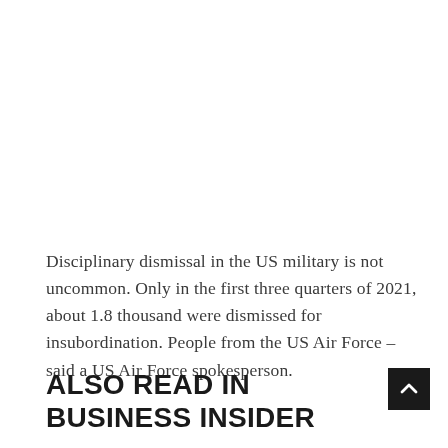Disciplinary dismissal in the US military is not uncommon. Only in the first three quarters of 2021, about 1.8 thousand were dismissed for insubordination. People from the US Air Force – said a US Air Force spokesperson.
ALSO READ IN BUSINESS INSIDER